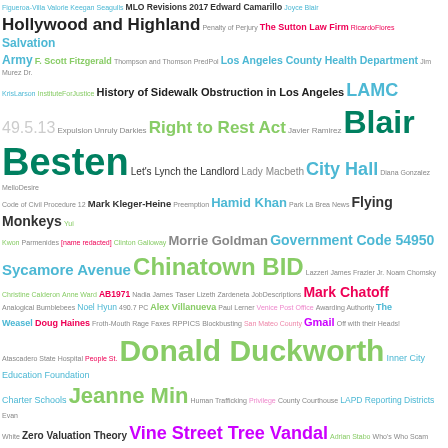[Figure (infographic): Word cloud featuring terms related to Los Angeles government, BID (Business Improvement District) documents, legal cases, and public policy topics. Key terms include Blair Besten, Chinatown BID, Donald Duckworth, CPRA 6254(a), Minutes, John Lee, ACLU, Long Beach, Jeanne Min, Government Code 54950, Right to Rest Act, LAMC, City Hall, among many others in varying sizes and colors.]